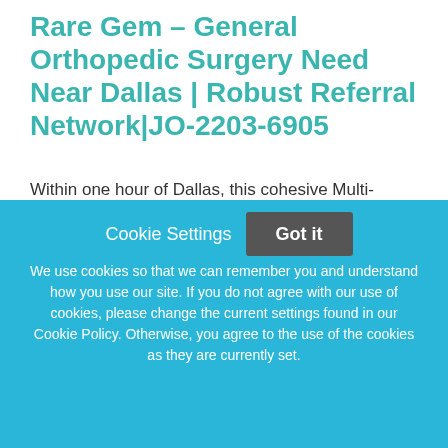Rare Gem – General Orthopedic Surgery Need Near Dallas | Robust Referral Network|JO-2203-6905
Within one hour of Dallas, this cohesive Multi-Specialty group is seeking a BC/BE ORS with a practice-building mentality to capitalize on the referral network in place.Busy practice with schedule booked out 2 months -
This job listing is no longer active.
Cookie Settings   Got it
We use cookies so that we can remember you and understand how you use our site. If you do not agree with our use of cookies, please change the current settings found in our Cookie Policy. Otherwise, you agree to the use of the cookies as they are currently set.